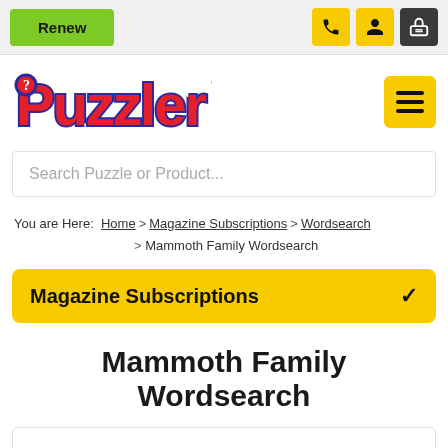Renew | Phone | Account | Cart
[Figure (logo): Puzzler logo in red with blue outline and menu button]
Search Puzzle or Product...
You are Here: Home > Magazine Subscriptions > Wordsearch > Mammoth Family Wordsearch
Magazine Subscriptions
Mammoth Family Wordsearch